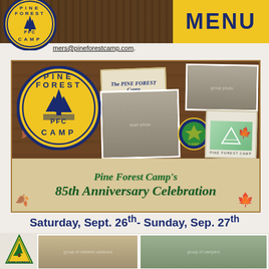[Figure (logo): Pine Forest Camp circular logo, top left, with PFC in center and pine trees]
MENU
mers@pineforestcamp.com.
[Figure (illustration): Pine Forest Camp 85th Anniversary Celebration collage with camp logo, old photos, autumn leaves, and script text reading 'Pine Forest Camp's 85th Anniversary Celebration']
Saturday, Sept. 26th- Sunday, Sep. 27th
[Figure (photo): Bottom strip showing Pine Forest Camp logo and two group photos of campers]